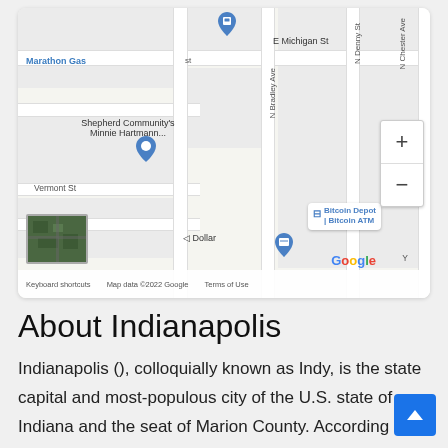[Figure (map): Google Maps screenshot showing a street map of Indianapolis area near E Michigan St, N Bradley Ave, N Denny St, N Chester Ave, Vermont St. Shows Shepherd Community's Minnie Hartmann location pin, Bitcoin Depot Bitcoin ATM marker, Marathon Gas station, Dollar store, Romey's label. Zoom controls (+/-) visible. Map data ©2022 Google.]
About Indianapolis
Indianapolis (), colloquially known as Indy, is the state capital and most-populous city of the U.S. state of Indiana and the seat of Marion County. According to the United States Census